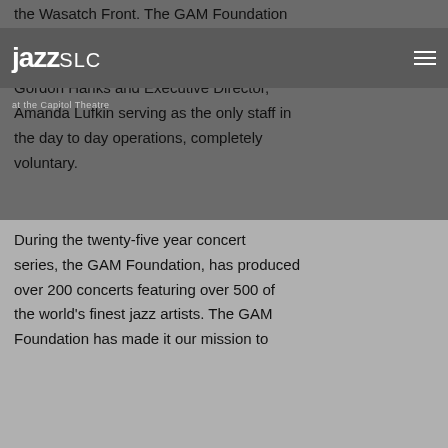jazzSLC at the Capitol Theatre
the Wasatch Front. The GAM Foundation is and has always been a volunteer-staffed organization with founder, Gordon Hanks and Executive Director, Amanda Lufkin serving as the only staff in the day to day operations, completely voluntary.
During the twenty-five year concert series, the GAM Foundation, has produced over 200 concerts featuring over 500 of the world's finest jazz artists. The GAM Foundation has made it our mission to